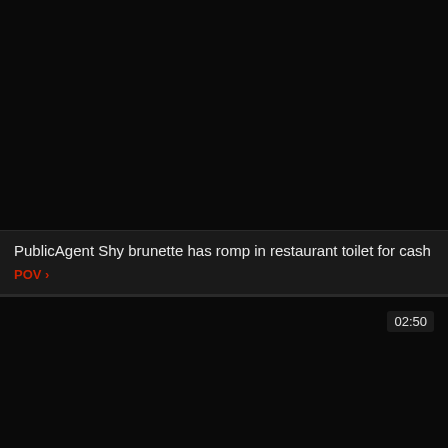[Figure (screenshot): Black video thumbnail (top card)]
PublicAgent Shy brunette has romp in restaurant toilet for cash
POV
[Figure (screenshot): Black video thumbnail (bottom card) with duration badge 02:50]
02:50